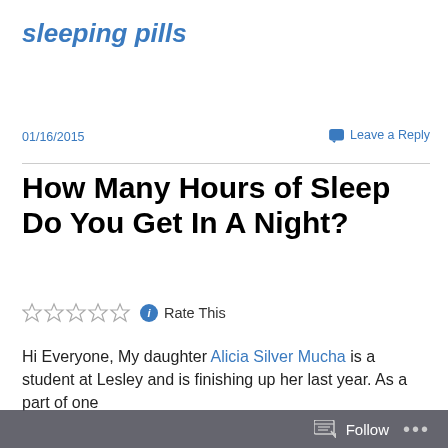sleeping pills
01/16/2015
Leave a Reply
How Many Hours of Sleep Do You Get In A Night?
Rate This
Hi Everyone, My daughter Alicia Silver Mucha is a student at Lesley and is finishing up her last year. As a part of one
Follow